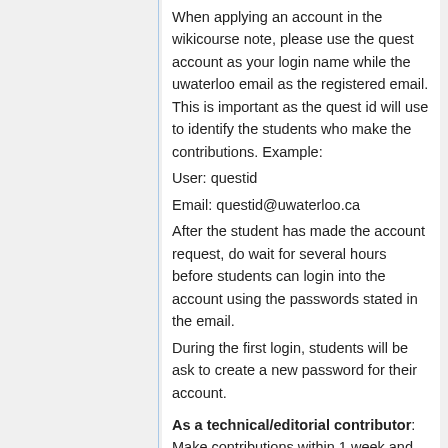When applying an account in the wikicourse note, please use the quest account as your login name while the uwaterloo email as the registered email. This is important as the quest id will use to identify the students who make the contributions. Example:
User: questid
Email: questid@uwaterloo.ca
After the student has made the account request, do wait for several hours before students can login into the account using the passwords stated in the email.
During the first login, students will be ask to create a new password for their account.
As a technical/editorial contributor: Make contributions within 1 week and do not copy the notes on the blackboard.
Must do both All contributions are now